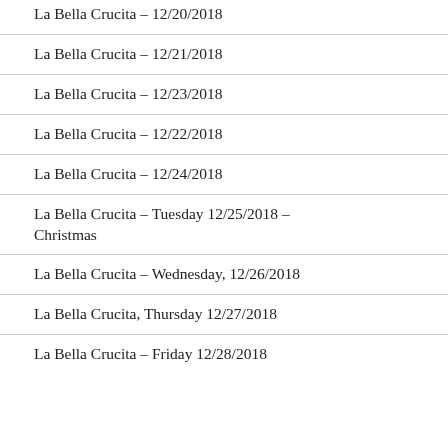La Bella Crucita – 12/20/2018
La Bella Crucita – 12/21/2018
La Bella Crucita – 12/23/2018
La Bella Crucita – 12/22/2018
La Bella Crucita – 12/24/2018
La Bella Crucita – Tuesday 12/25/2018 – Christmas
La Bella Crucita – Wednesday, 12/26/2018
La Bella Crucita, Thursday 12/27/2018
La Bella Crucita – Friday 12/28/2018